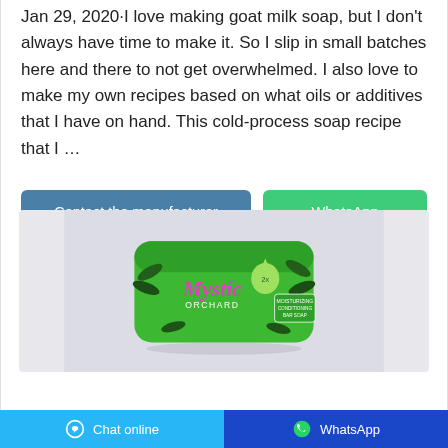Jan 29, 2020·I love making goat milk soap, but I don't always have time to make it. So I slip in small batches here and there to not get overwhelmed. I also love to make my own recipes based on what oils or additives that I have on hand. This cold-process soap recipe that I …
[Figure (other): Two buttons: 'Contact the manufacturer' (blue/teal) and 'WhatsApp' (green)]
[Figure (photo): Product photo of a green packaged soap bar labeled 'Mystic Orchard' with decorative leaf graphics, on a light gray background]
Chat online   WhatsApp